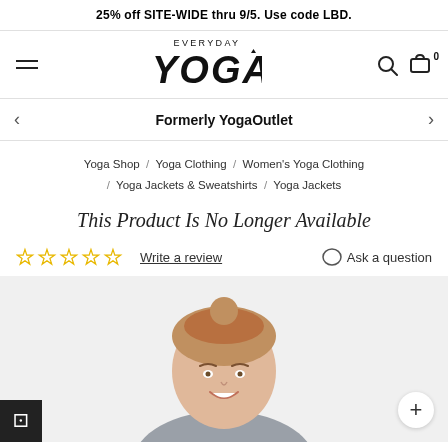25% off SITE-WIDE thru 9/5. Use code LBD.
[Figure (logo): Everyday YOGA logo with hamburger menu, search icon, and bag icon with 0 count]
Formerly YogaOutlet
Yoga Shop / Yoga Clothing / Women's Yoga Clothing / Yoga Jackets & Sweatshirts / Yoga Jackets
This Product Is No Longer Available
☆☆☆☆☆ Write a review   Ask a question
[Figure (photo): Woman smiling, wearing yoga jacket, shown from shoulders up, light background]